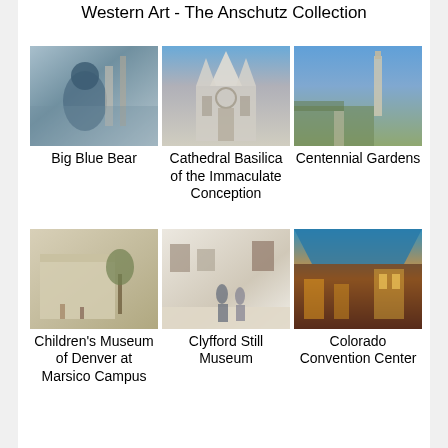Western Art - The Anschutz Collection
[Figure (photo): Big Blue Bear sculpture at Convention Center]
Big Blue Bear
[Figure (photo): Cathedral Basilica of the Immaculate Conception]
Cathedral Basilica of the Immaculate Conception
[Figure (photo): Centennial Gardens park with tower]
Centennial Gardens
[Figure (photo): Children's Museum of Denver at Marsico Campus]
Children's Museum of Denver at Marsico Campus
[Figure (photo): Clyfford Still Museum interior gallery]
Clyfford Still Museum
[Figure (photo): Colorado Convention Center interior]
Colorado Convention Center